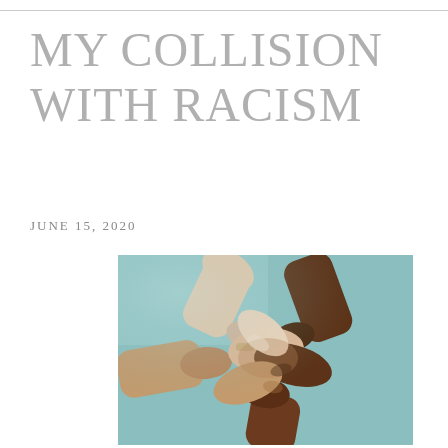MY COLLISION WITH RACISM
JUNE 15, 2020
[Figure (photo): Four hands of different skin tones gripping each other's wrists in a circle, symbolizing unity and solidarity, against a light teal background.]